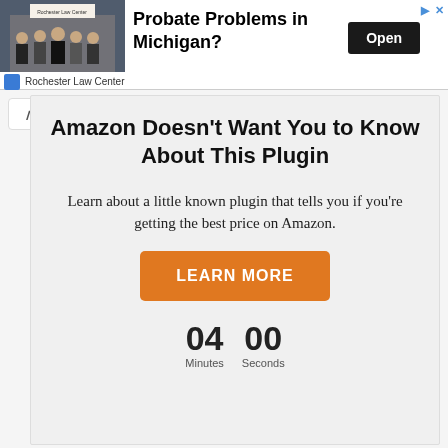[Figure (photo): Advertisement banner showing Rochester Law Center with a group photo of lawyers in front of a building, headline 'Probate Problems in Michigan?', Open button, and logo row.]
Amazon Doesn't Want You to Know About This Plugin
Learn about a little known plugin that tells you if you're getting the best price on Amazon.
LEARN MORE
04 Minutes  00 Seconds